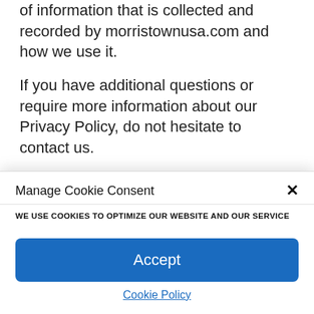of information that is collected and recorded by morristownusa.com and how we use it.
If you have additional questions or require more information about our Privacy Policy, do not hesitate to contact us.
This Privacy Policy applies only to our online activities and is valid for visitors to our website with regards to the information that
Manage Cookie Consent
WE USE COOKIES TO OPTIMIZE OUR WEBSITE AND OUR SERVICE
Accept
Cookie Policy